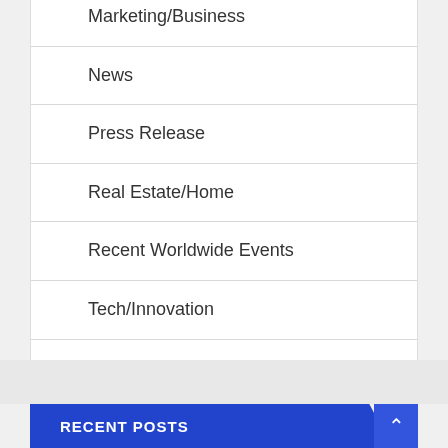Marketing/Business
News
Press Release
Real Estate/Home
Recent Worldwide Events
Tech/Innovation
World News
RECENT POSTS